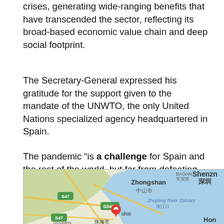crises, generating wide-ranging benefits that have transcended the sector, reflecting its broad-based economic value chain and deep social footprint.
The Secretary-General expressed his gratitude for the support given to the mandate of the UNWTO, the only United Nations specialized agency headquartered in Spain.
The pandemic “is a challenge for Spain and the rest of the world, but far from defeating us, it will make us stronger as a global society,” he concluded.
[Figure (map): Google Maps screenshot showing the Pearl River Estuary region, including Zhongshan (中山市), Zhuhai (珠海市), with labels for BAOAN (宝安区), Shenzhen (深圳), Zhujiang River Estuary (珠江口), Hong Kong (Hon...), road labels S47 and G0425, and a red location pin on Zhuhai.]